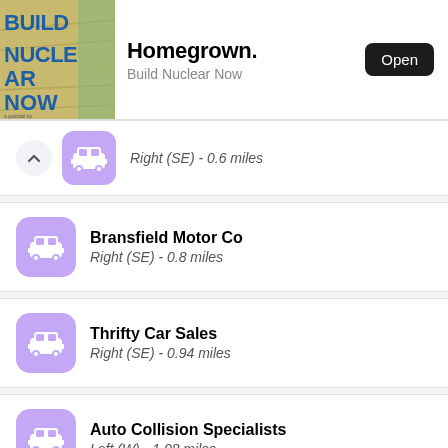[Figure (screenshot): Advertisement banner for 'Homegrown.' podcast by Build Nuclear Now, with a decorative image on the left, title and subtitle text, and an 'Open' button on the right.]
Right (SE) - 0.6 miles
Bransfield Motor Co | Right (SE) - 0.8 miles
Thrifty Car Sales | Right (SE) - 0.94 miles
Auto Collision Specialists | Left (W) - 1.08 miles
Mudgett's Auto Body